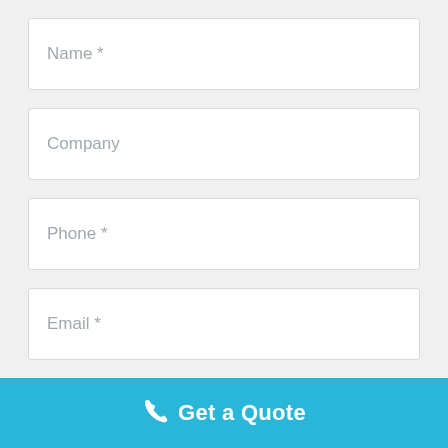Name *
Company
Phone *
Email *
Comments
Get a Quote